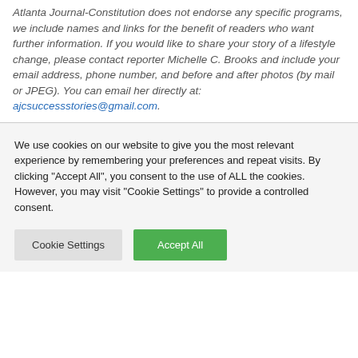Atlanta Journal-Constitution does not endorse any specific programs, we include names and links for the benefit of readers who want further information. If you would like to share your story of a lifestyle change, please contact reporter Michelle C. Brooks and include your email address, phone number, and before and after photos (by mail or JPEG). You can email her directly at: ajcsuccessstories@gmail.com.
We use cookies on our website to give you the most relevant experience by remembering your preferences and repeat visits. By clicking "Accept All", you consent to the use of ALL the cookies. However, you may visit "Cookie Settings" to provide a controlled consent.